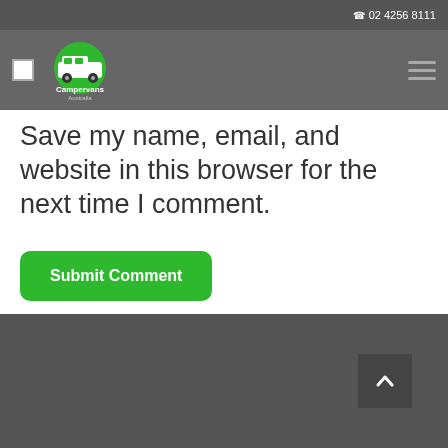02 4256 8111
[Figure (logo): Campervans Australia logo with green campervan graphic]
Save my name, email, and website in this browser for the next time I comment.
Submit Comment